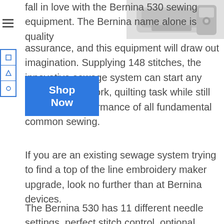[Figure (photo): Partial image of a Bernina 530 sewing machine, white/grey colored, top right corner of the page]
fall in love with the Bernina 530 sewing equipment. The Bernina name alone is quality assurance, and this equipment will draw out imagination. Supplying 148 stitches, the innovative sewage system can start any type of needlework, quilting task while still having the performance of all fundamental common sewing.
If you are an existing sewage system trying to find a top of the line embroidery maker upgrade, look no further than at Bernina devices.
The Bernina 530 has 11 different needle settings, perfect stitch control, optional stitch